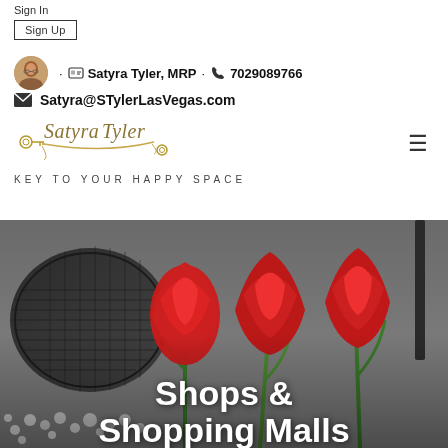Sign In
Sign Up
Satyra Tyler, MRP · 7029089766
Satyra@STylerLasVegas.com
[Figure (logo): Satyra Tyler script logo with decorative underline and key ornaments]
KEY TO YOUR HAPPY SPACE
[Figure (photo): Red tulips with white flowers and a dark wicker basket in background, with overlay text 'Shops & Shopping Malls']
Shops & Shopping Malls